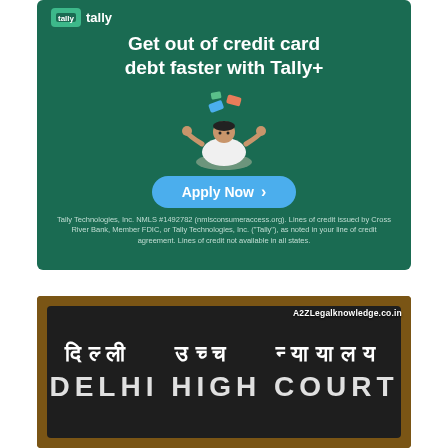[Figure (infographic): Tally+ advertisement banner with dark green background. Headline: 'Get out of credit card debt faster with Tally+'. Illustration of a person meditating with credit cards floating. Blue 'Apply Now' button. Disclaimer text at bottom.]
[Figure (photo): Photo of Delhi High Court building sign showing Hindi text 'दिल्ली उच्च न्यायालय' and English text 'DELHI HIGH COURT' on a dark stone/metal sign. Brown border frame. Watermark: A2ZLegalknowledge.co.in]